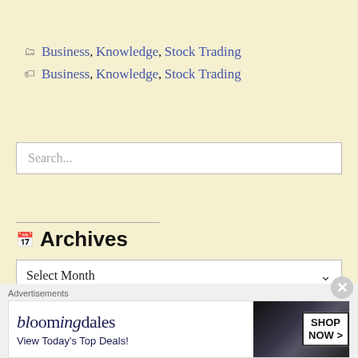🗂 Business, Knowledge, Stock Trading
🏷 Business, Knowledge, Stock Trading
Search...
Archives
Select Month
Advertisements
[Figure (other): Bloomingdale's advertisement banner: logo text 'bloomingdales', tagline 'View Today's Top Deals!', button 'SHOP NOW >']